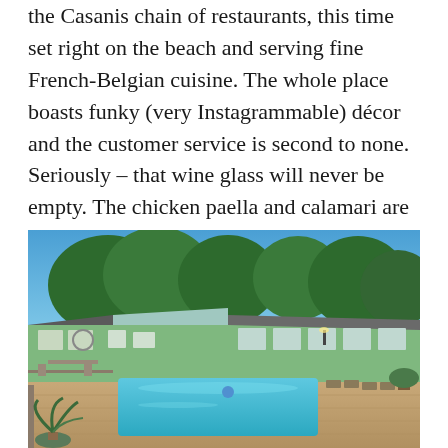the Casanis chain of restaurants, this time set right on the beach and serving fine French-Belgian cuisine. The whole place boasts funky (very Instagrammable) décor and the customer service is second to none. Seriously – that wine glass will never be empty. The chicken paella and calamari are among their best dishes.
[Figure (photo): Outdoor swimming pool in front of a low green-painted building with large windows, surrounded by trees under a blue sky with patio furniture and tropical plants in the foreground.]